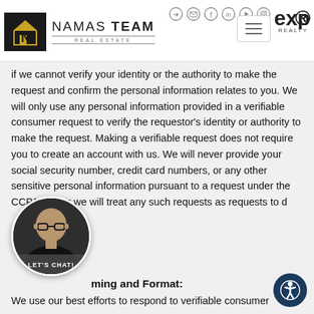NAMAS TEAM Real Estate | eXp Realty header with navigation icons
if we cannot verify your identity or the authority to make the request and confirm the personal information relates to you. We will only use any personal information provided in a verifiable consumer request to verify the requestor's identity or authority to make the request. Making a verifiable request does not require you to create an account with us. We will never provide your social security number, credit card numbers, or any other sensitive personal information pursuant to a request under the CCPA, rather we will treat any such requests as requests to d
[Figure (photo): Circular profile photo of a bald man wearing glasses and a dark shirt, with 'LET'S CHAT!' label overlay at the bottom]
ming and Format:
We use our best efforts to respond to verifiable consumer